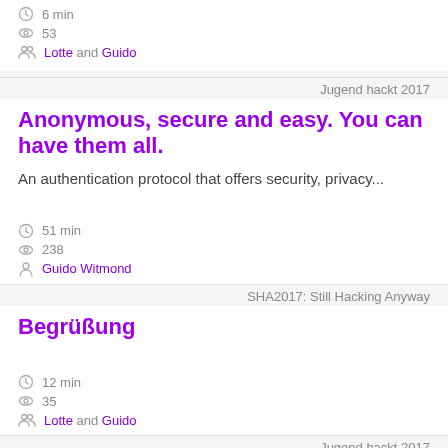6 min
53
Lotte and Guido
Jugend hackt 2017
Anonymous, secure and easy. You can have them all.
An authentication protocol that offers security, privacy...
51 min
238
Guido Witmond
SHA2017: Still Hacking Anyway
Begrüßung
12 min
35
Lotte and Guido
Jugend hackt 2017